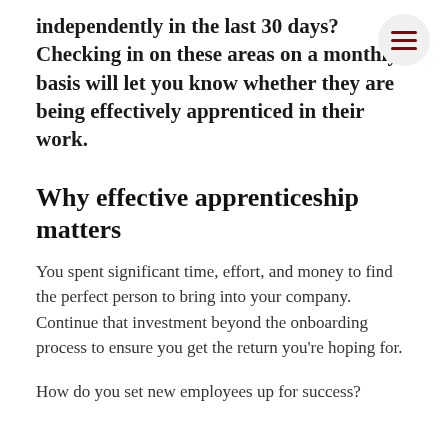independently in the last 30 days? Checking in on these areas on a monthly basis will let you know whether they are being effectively apprenticed in their work.
Why effective apprenticeship matters
You spent significant time, effort, and money to find the perfect person to bring into your company. Continue that investment beyond the onboarding process to ensure you get the return you're hoping for.
How do you set new employees up for success?